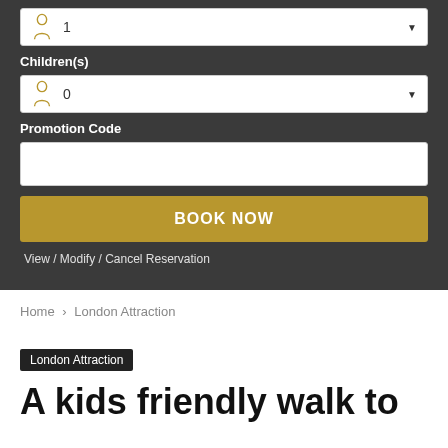Children(s)
1
0
Promotion Code
BOOK NOW
View / Modify / Cancel Reservation
Home › London Attraction
London Attraction
A kids friendly walk to